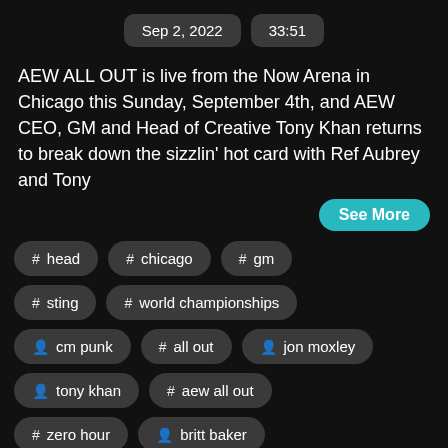Sep 2, 2022   33:51
AEW ALL OUT is live from the Now Arena in Chicago this Sunday, September 4th, and AEW CEO, GM and Head of Creative Tony Khan returns to break down the sizzlin' hot card with Ref Aubrey and Tony
See More
# head
# chicago
# gm
# sting
# world championships
person cm punk
# all out
person jon moxley
person tony khan
# aew all out
# zero hour
person britt baker